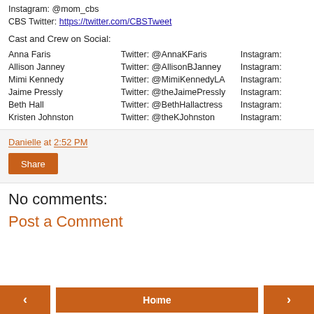Instagram: @mom_cbs
CBS Twitter: https://twitter.com/CBSTweet
Cast and Crew on Social:
| Name | Twitter | Instagram |
| --- | --- | --- |
| Anna Faris | Twitter: @AnnaKFaris | Instagram: |
| Allison Janney | Twitter: @AllisonBJanney | Instagram: |
| Mimi Kennedy | Twitter: @MimiKennedyLA | Instagram: |
| Jaime Pressly | Twitter: @theJaimePressly | Instagram: |
| Beth Hall | Twitter: @BethHallactress | Instagram: |
| Kristen Johnston | Twitter: @theKJohnston | Instagram: |
Danielle at 2:52 PM
Share
No comments:
Post a Comment
Home